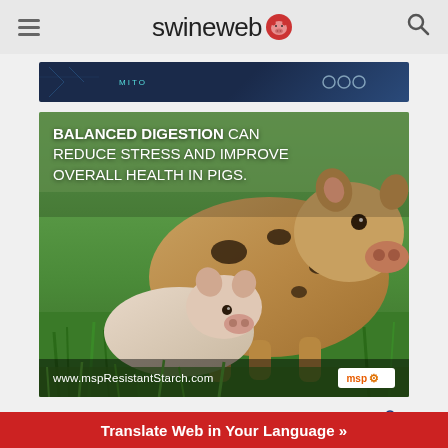swineweb
[Figure (screenshot): Partial top banner with dark blue background, partially visible]
[Figure (photo): Advertisement for mspResistantStarch.com featuring pigs in grass, text: BALANCED DIGESTION CAN REDUCE STRESS AND IMPROVE OVERALL HEALTH IN PIGS. www.mspResistantStarch.com]
Expect More
[Figure (logo): Hypor logo with pig icon]
Translate Web in Your Language »